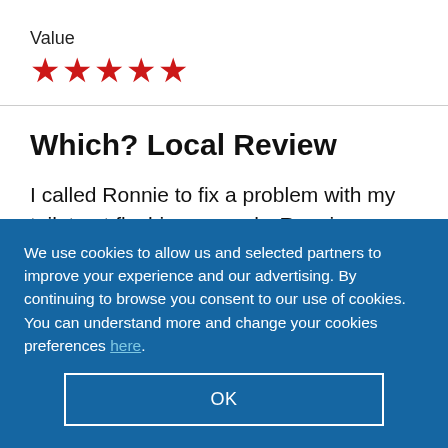Value
[Figure (other): Five red star rating icons]
Which? Local Review
I called Ronnie to fix a problem with my toilet not flushing properly. Ronnie came round at the time agreed...
We use cookies to allow us and selected partners to improve your experience and our advertising. By continuing to browse you consent to our use of cookies. You can understand more and change your cookies preferences here.
OK